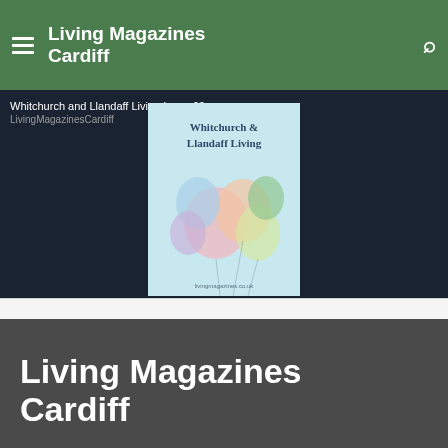Living Magazines Cardiff
[Figure (photo): Magazine cover for Whitchurch and Llandaff Living Issue 63, featuring colorful balloons on a light blue background]
Whitchurch and Llandaff Living Issue 63
LivingMagazinesCardiff
Living Magazines Cardiff